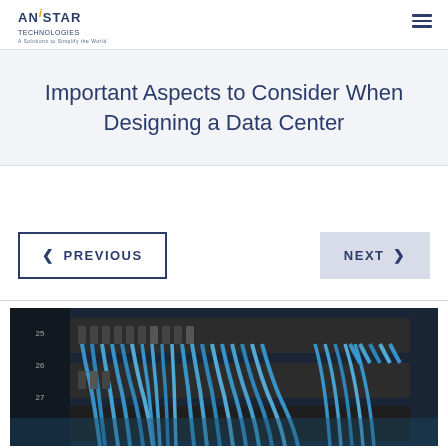ANISTAR TECHNOLOGIES — A Solution to Simplify the World
Important Aspects to Consider When Designing a Data Center
‹ PREVIOUS
NEXT ›
[Figure (photo): Data center rack with multiple blue ethernet cables plugged into patch panel and networking equipment]